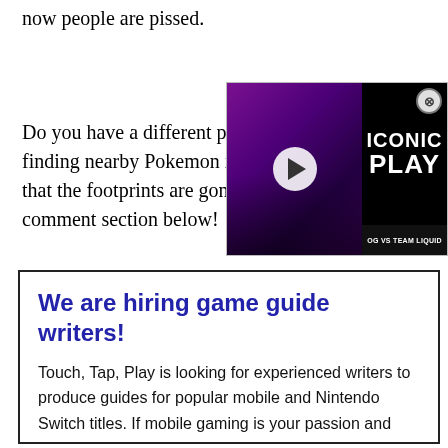now people are pissed.
Do you have a different perspective on finding nearby Pokemon in the game or feel that the footprints are gone? Let us know in the comment section below!
[Figure (screenshot): Video ad overlay showing a gaming video thumbnail with purple background and two players, a play button in the center, and text reading ICONIC PLAY on the right side, with OG VS TEAM LIQUID at the bottom. A close (X) button is in the top right corner.]
We are hiring game guide writers!
Touch, Tap, Play is looking for experienced writers to produce guides for popular mobile and Nintendo Switch titles. If mobile gaming is your passion and you want to get paid to create guides, you're in the right